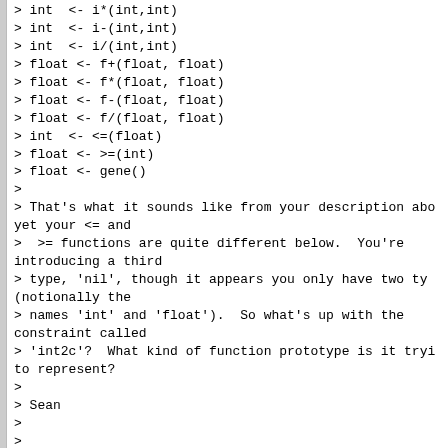> int  <- i*(int,int)
> int  <- i-(int,int)
> int  <- i/(int,int)
> float <- f+(float, float)
> float <- f*(float, float)
> float <- f-(float, float)
> float <- f/(float, float)
> int  <- <=(float)
> float <- >=(int)
> float <- gene()
>
> That's what it sounds like from your description abo yet your <= and
>  >= functions are quite different below.  You're introducing a third
> type, 'nil', though it appears you only have two ty (notionally the
> names 'int' and 'float').  So what's up with the constraint called
> 'int2c'?  What kind of function prototype is it tryi to represent?
>
> Sean
>
>
> > So Far I have got  the following:
> >
> > #return type of the tree
> >
> > gp_tc_0 returns = int